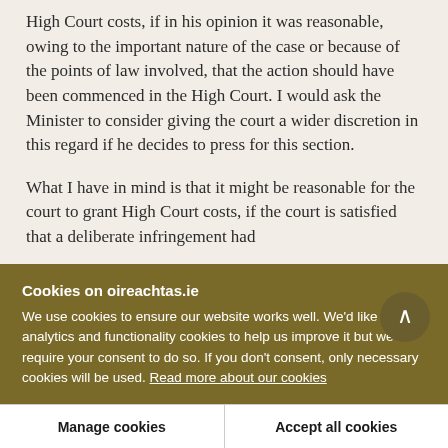High Court costs, if in his opinion it was reasonable, owing to the important nature of the case or because of the points of law involved, that the action should have been commenced in the High Court. I would ask the Minister to consider giving the court a wider discretion in this regard if he decides to press for this section.
What I have in mind is that it might be reasonable for the court to grant High Court costs, if the court is satisfied that a deliberate infringement had
Cookies on oireachtas.ie
We use cookies to ensure our website works well. We'd like to use analytics and functionality cookies to help us improve it but we require your consent to do so. If you don't consent, only necessary cookies will be used. Read more about our cookies
Manage cookies
Accept all cookies